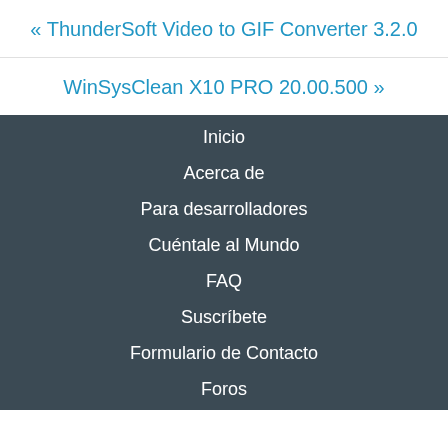« ThunderSoft Video to GIF Converter 3.2.0
WinSysClean X10 PRO 20.00.500 »
Inicio
Acerca de
Para desarrolladores
Cuéntale al Mundo
FAQ
Suscríbete
Formulario de Contacto
Foros